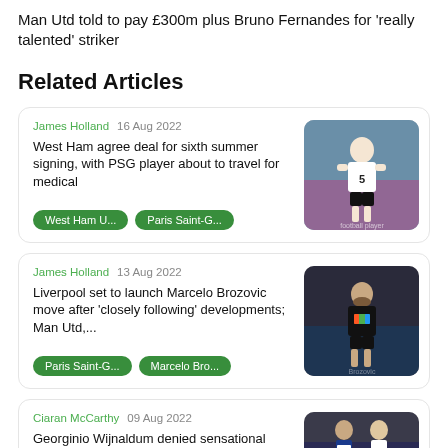Man Utd told to pay £300m plus Bruno Fernandes for 'really talented' striker
Related Articles
James Holland  16 Aug 2022
West Ham agree deal for sixth summer signing, with PSG player about to travel for medical
West Ham U...  Paris Saint-G...
James Holland  13 Aug 2022
Liverpool set to launch Marcelo Brozovic move after 'closely following' developments; Man Utd,...
Paris Saint-G...  Marcelo Bro...
Ciaran McCarthy  09 Aug 2022
Georginio Wijnaldum denied sensational Premier League return